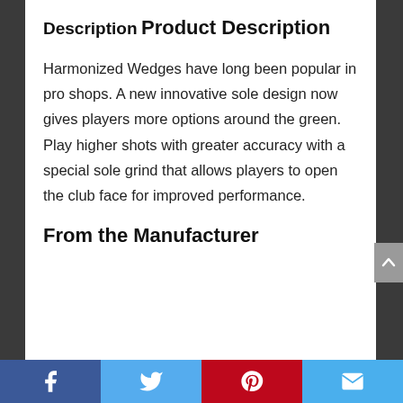Description
Product Description
Harmonized Wedges have long been popular in pro shops. A new innovative sole design now gives players more options around the green. Play higher shots with greater accuracy with a special sole grind that allows players to open the club face for improved performance.
From the Manufacturer